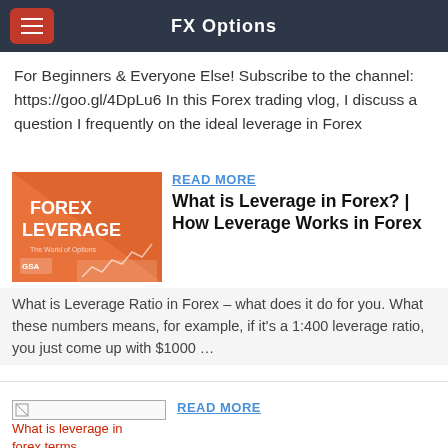FX Options
For Beginners & Everyone Else! Subscribe to the channel: https://goo.gl/4DpLu6 In this Forex trading vlog, I discuss a question I frequently on the ideal leverage in Forex
READ MORE
[Figure (illustration): Orange book cover with text FOREX LEVERAGE and chart image at bottom, with GSA logo]
What is Leverage in Forex? | How Leverage Works in Forex
What is Leverage Ratio in Forex – what does it do for you. What these numbers means, for example, if it's a 1:400 leverage ratio, you just come up with $1000 …
READ MORE
[Figure (illustration): Broken image placeholder with alt text: What is leverage in forex terms]
What Is Leverage? Forex Leverage Explained - Forex Trading